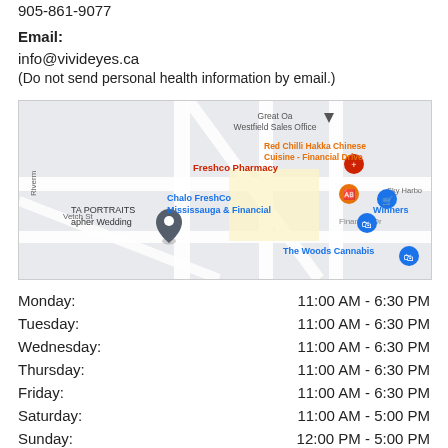905-861-9077
Email:
info@vivideyes.ca
(Do not send personal health information by email.)
[Figure (map): Google Maps screenshot showing area near Mississauga & Financial Drive, with markers for Freshco Pharmacy, Chalo FreshCo Mississauga & Financial, Red Chilli Hakka Chinese Cuisine - Financial Drive, Winners, The Woods Cannabis, and a location pin on Vetch St. Street labels include Financial Dr, River, Sky Harbo, Westfield Sales Office, TA PORTRAITS, apher Wedding.]
Monday:    11:00 AM - 6:30 PM
Tuesday:    11:00 AM - 6:30 PM
Wednesday:    11:00 AM - 6:30 PM
Thursday:    11:00 AM - 6:30 PM
Friday:    11:00 AM - 6:30 PM
Saturday:    11:00 AM - 5:00 PM
Sunday:    12:00 PM - 5:00 PM